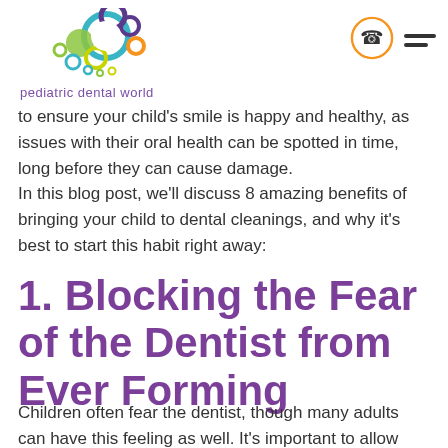[Figure (logo): Pediatric Dental World logo with colorful overlapping circles and text 'pediatric dental world' in purple]
[Figure (other): Phone icon in orange circle and hamburger menu icon]
to ensure your child’s smile is happy and healthy, as issues with their oral health can be spotted in time, long before they can cause damage.
In this blog post, we’ll discuss 8 amazing benefits of bringing your child to dental cleanings, and why it’s best to start this habit right away:
1. Blocking the Fear of the Dentist from Ever Forming
Children often fear the dentist, though many adults can have this feeling as well. It’s important to allow your child